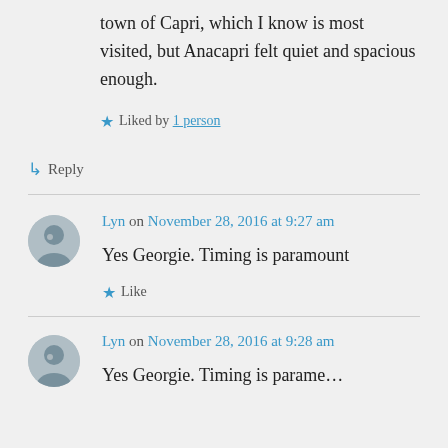town of Capri, which I know is most visited, but Anacapri felt quiet and spacious enough.
Liked by 1 person
↳ Reply
Lyn on November 28, 2016 at 9:27 am
Yes Georgie. Timing is paramount
Like
Lyn on November 28, 2016 at 9:28 am
Yes Georgie. Timing is paramount